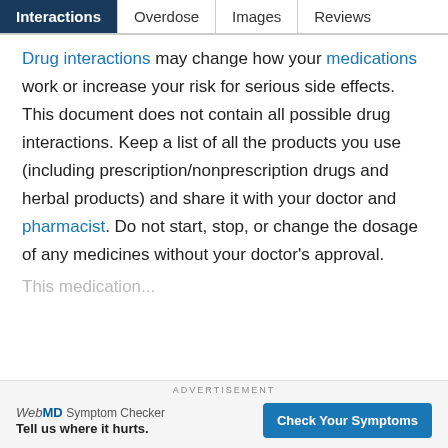Interactions | Overdose | Images | Reviews
Drug interactions may change how your medications work or increase your risk for serious side effects. This document does not contain all possible drug interactions. Keep a list of all the products you use (including prescription/nonprescription drugs and herbal products) and share it with your doctor and pharmacist. Do not start, stop, or change the dosage of any medicines without your doctor's approval.
This medication... (truncated)
ADVERTISEMENT
WebMD Symptom Checker — Tell us where it hurts. — Check Your Symptoms